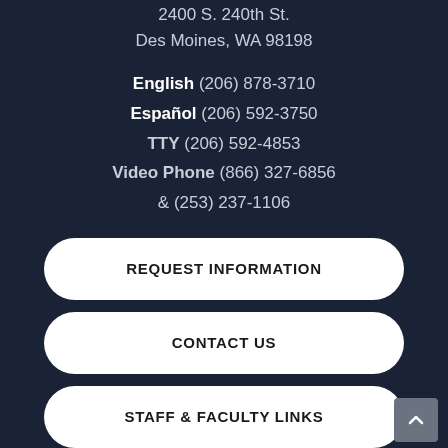2400 S. 240th St.
Des Moines, WA 98198
English (206) 878-3710
Español (206) 592-3750
TTY (206) 592-4853
Video Phone (866) 327-6856
& (253) 237-1106
REQUEST INFORMATION
CONTACT US
STAFF & FACULTY LINKS